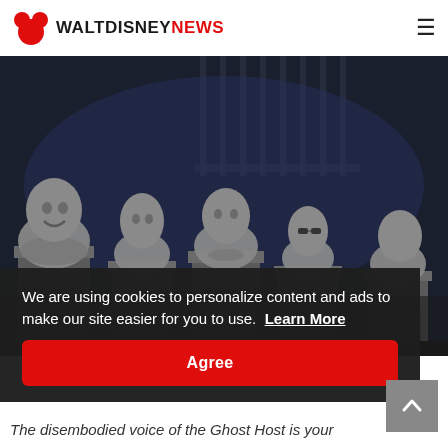WALTDISNEYNEWS
[Figure (photo): Five stone/bronze busts on pedestals in a dark, blue-lit setting resembling the Haunted Mansion attraction — five sculpted figures of various characters displayed in a corridor with iron gates in the background.]
We are using cookies to personalize content and ads to make our site easier for you to use.  Learn More
Agree
The disembodied voice of the Ghost Host is your